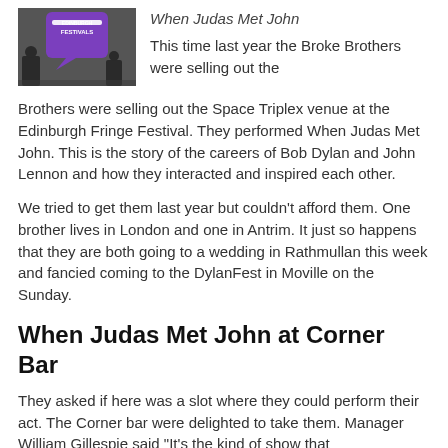[Figure (photo): Two people posed in front of an Edinburgh Festivals branded purple backdrop/sign]
When Judas Met John
This time last year the Broke Brothers were selling out the Space Triplex venue at the Edinburgh Fringe Festival. They performed When Judas Met John. This is the story of the careers of Bob Dylan and John Lennon and how they interacted and inspired each other.
We tried to get them last year but couldn't afford them. One brother lives in London and one in Antrim. It just so happens that they are both going to a wedding in Rathmullan this week and fancied coming to the DylanFest in Moville on the Sunday.
When Judas Met John at Corner Bar
They asked if here was a slot where they could perform their act. The Corner bar were delighted to take them. Manager William Gillespie said "It's the kind of show that